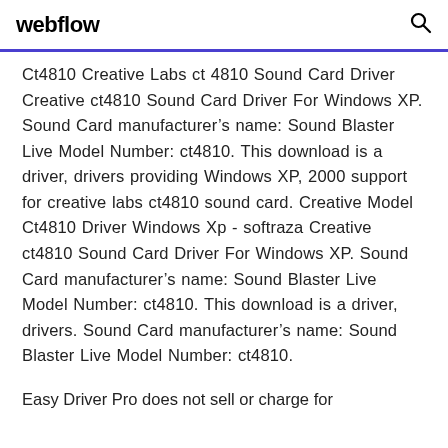webflow
Ct4810 Creative Labs ct 4810 Sound Card Driver Creative ct4810 Sound Card Driver For Windows XP. Sound Card manufacturer’s name: Sound Blaster Live Model Number: ct4810. This download is a driver, drivers providing Windows XP, 2000 support for creative labs ct4810 sound card. Creative Model Ct4810 Driver Windows Xp - softraza Creative ct4810 Sound Card Driver For Windows XP. Sound Card manufacturer’s name: Sound Blaster Live Model Number: ct4810. This download is a driver, drivers. Sound Card manufacturer’s name: Sound Blaster Live Model Number: ct4810.
Easy Driver Pro does not sell or charge for